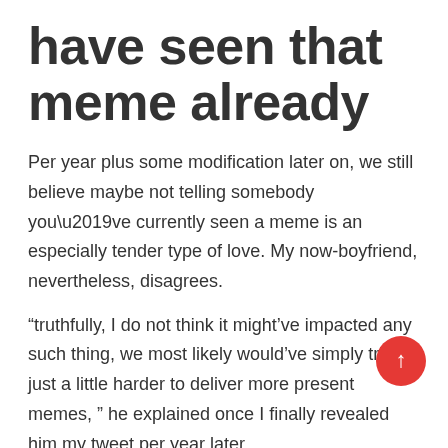have seen that meme already
Per year plus some modification later on, we still believe maybe not telling somebody you’ve currently seen a meme is an especially tender type of love. My now-boyfriend, nevertheless, disagrees.
“truthfully, I do not think it might’ve impacted any such thing, we most likely would’ve simply tried just a little harder to deliver more present memes, ” he explained once I finally revealed him my tweet per year later.
As an individual who’s literally paid to blow